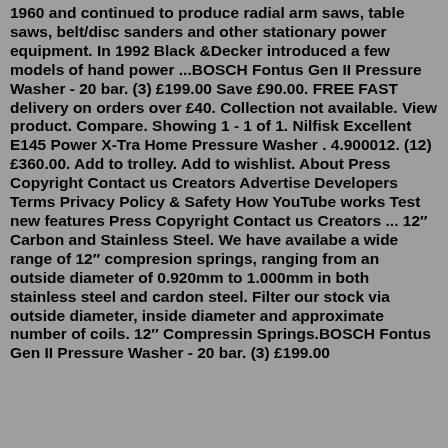1960 and continued to produce radial arm saws, table saws, belt/disc sanders and other stationary power equipment. In 1992 Black &Decker introduced a few models of hand power ...BOSCH Fontus Gen II Pressure Washer - 20 bar. (3) £199.00 Save £90.00. FREE FAST delivery on orders over £40. Collection not available. View product. Compare. Showing 1 - 1 of 1. Nilfisk Excellent E145 Power X-Tra Home Pressure Washer . 4.900012. (12) £360.00. Add to trolley. Add to wishlist. About Press Copyright Contact us Creators Advertise Developers Terms Privacy Policy & Safety How YouTube works Test new features Press Copyright Contact us Creators ... 12″ Carbon and Stainless Steel. We have availabe a wide range of 12″ compresion springs, ranging from an outside diameter of 0.920mm to 1.000mm in both stainless steel and cardon steel. Filter our stock via outside diameter, inside diameter and approximate number of coils. 12″ Compressin Springs.BOSCH Fontus Gen II Pressure Washer - 20 bar. (3) £199.00